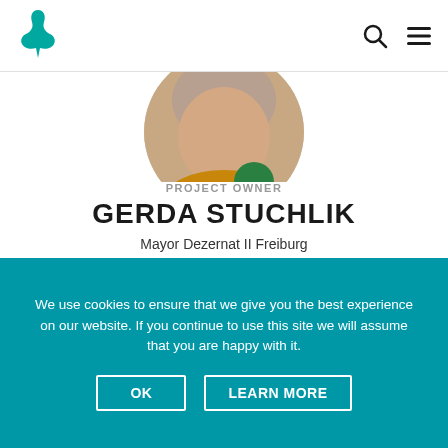Logo and navigation icons
[Figure (photo): Circular cropped profile photo of Gerda Stuchlik, showing her face and neck]
PROJECT OWNER
GERDA STUCHLIK
Mayor Dezernat II Freiburg
🌐 Go to website
Tweet
Share
We use cookies to ensure that we give you the best experience on our website. If you continue to use this site we will assume that you are happy with it.
OK
LEARN MORE